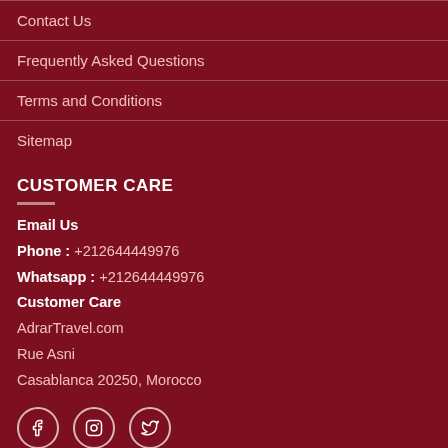Contact Us
Frequently Asked Questions
Terms and Conditions
Sitemap
CUSTOMER CARE
Email Us
Phone : +212644449976
Whatsapp : +212644449976
Customer Care
AdrarTravel.com
Rue Asni
Casablanca 20250, Morocco
[Figure (illustration): Social media icons: Facebook, Instagram, Twitter in circular outlines]